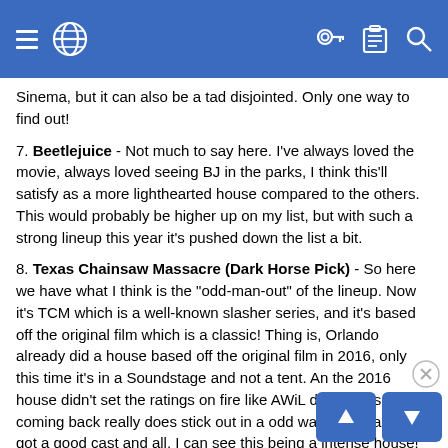Navigation bar with hamburger menu, globe icon, key icon, clipboard icon, and search icon
Sinema, but it can also be a tad disjointed. Only one way to find out!
7. Beetlejuice - Not much to say here. I've always loved the movie, always loved seeing BJ in the parks, I think this'll satisfy as a more lighthearted house compared to the others. This would probably be higher up on my list, but with such a strong lineup this year it's pushed down the list a bit.
8. Texas Chainsaw Massacre (Dark Horse Pick) - So here we have what I think is the "odd-man-out" of the lineup. Now it's TCM which is a well-known slasher series, and it's based off the original film which is a classic! Thing is, Orlando already did a house based off the original film in 2016, only this time it's in a Soundstage and not a tent. An the 2016 house didn't set the ratings on fire like AWiL did, so this coming back really does stick out in a odd way. That said, if it's got a good cast and all, I can see this being a intense house! I've never been in any TCM house, so I'm looking forward to it. With it being the "odd-man-out" and having some great potential, I can't think of a better house for my Dark Horse Pick!
9. Revenge of the Tooth Fairy (Experienced in 2020) So her...